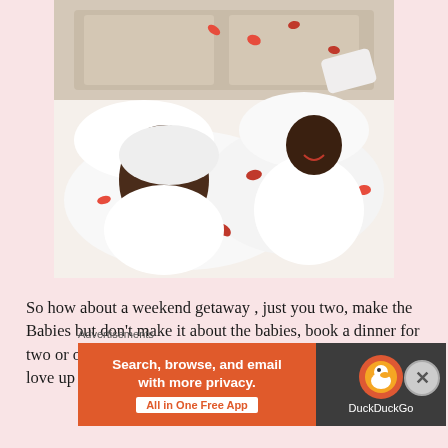[Figure (photo): A couple lying in bed covered in white robes and sheets scattered with red rose petals. The woman is smiling and tossing a pillow upward, while the man lies beside her laughing. The scene appears romantic and playful.]
So how about a weekend getaway , just you two, make the Babies but don't make it about the babies, book a dinner for two or order take away and just coil up on the couch and love up on each other, you are in it together.
Advertisements
[Figure (infographic): DuckDuckGo advertisement banner. Left orange section reads 'Search, browse, and email with more privacy.' with a white button 'All in One Free App'. Right dark section shows the DuckDuckGo duck logo and text 'DuckDuckGo'.]